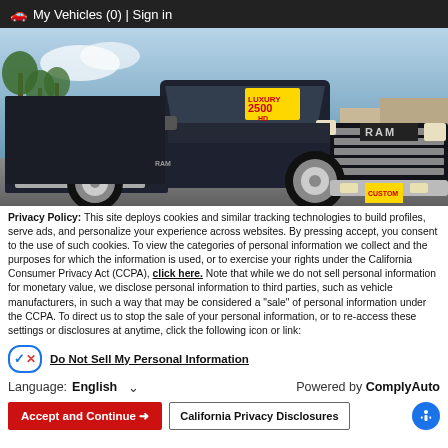🚗 My Vehicles (0) | Sign in
[Figure (photo): Dark navy RAM 2500 pickup truck (Luxury trim) parked at a dealership lot with palm trees in the background. A yellow price sticker with 'LUXURY 2500 HD' is visible on the windshield.]
Privacy Policy: This site deploys cookies and similar tracking technologies to build profiles, serve ads, and personalize your experience across websites. By pressing accept, you consent to the use of such cookies. To view the categories of personal information we collect and the purposes for which the information is used, or to exercise your rights under the California Consumer Privacy Act (CCPA), click here. Note that while we do not sell personal information for monetary value, we disclose personal information to third parties, such as vehicle manufacturers, in such a way that may be considered a "sale" of personal information under the CCPA. To direct us to stop the sale of your personal information, or to re-access these settings or disclosures at anytime, click the following icon or link:
Do Not Sell My Personal Information
Language: English  ∨  Powered by ComplyAuto
Accept and Continue →  California Privacy Disclosures